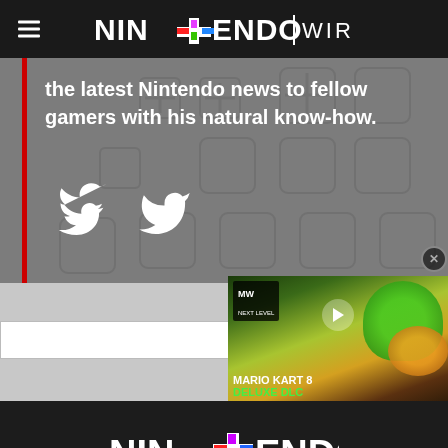Nintendo Wire
the latest Nintendo news to fellow gamers with his natural know-how.
[Figure (screenshot): Hero section with gray background showing Nintendo controller button pattern, red vertical bar on left, white text, and Twitter bird icon]
[Figure (screenshot): Video overlay showing Mario Kart 8 Deluxe DLC video thumbnail with Yoshi and play button, MW Next Level badge, close button, and green/yellow text]
[Figure (logo): Nintendo Wire footer logo with colored plus sign and underline]